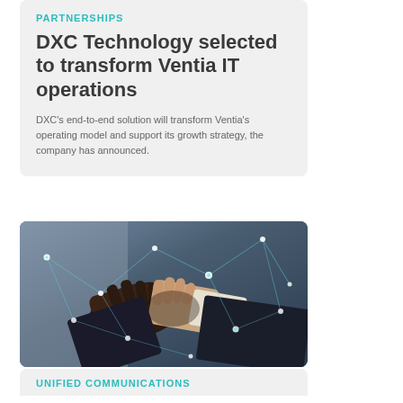PARTNERSHIPS
DXC Technology selected to transform Ventia IT operations
DXC's end-to-end solution will transform Ventia's operating model and support its growth strategy, the company has announced.
[Figure (photo): Two people shaking hands in a business setting overlaid with a digital network connectivity graphic with glowing nodes and lines]
UNIFIED COMMUNICATIONS